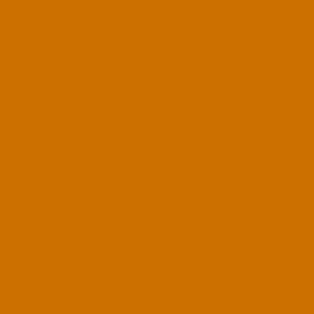[Figure (illustration): Orange/brown decorative block filling left portion of page]
[Figure (illustration): Religious painting/artwork showing draped figures in muted tan/brown tones]
The weird way he behaved before
– The response
– The words of J
Songs:
[Figure (illustration): Green header bar with partial text 'Ho']
How deep the Fa
How vast beyond
That He should g
To make a wretc
How great the pa
The Father turns
As wounds whic
One
Bring many sons